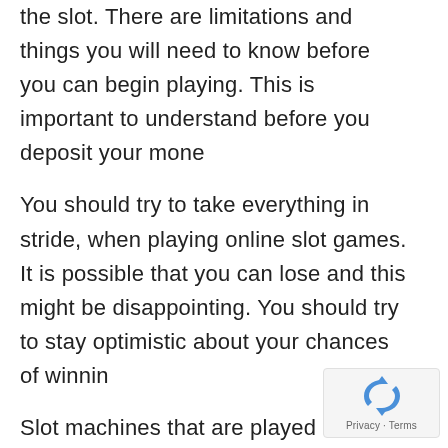the slot. There are limitations and things you will need to know before you can begin playing. This is important to understand before you deposit your mone
You should try to take everything in stride, when playing online slot games. It is possible that you can lose and this might be disappointing. You should try to stay optimistic about your chances of winnin
Slot machines that are played in colour and textured graphics will be offered by many online casinos. Other times, the colours are brighter and the graphics conspicuous. It is
[Figure (logo): reCAPTCHA privacy badge with rotating arrows icon and Privacy - Terms text]